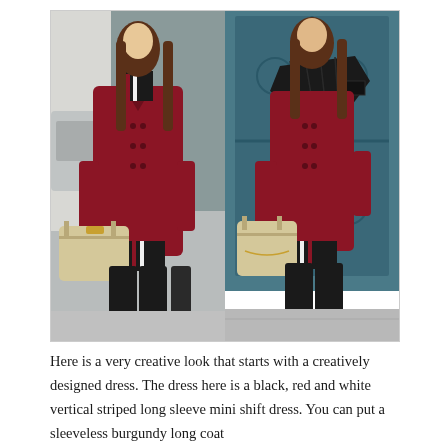[Figure (photo): Two side-by-side street style fashion photos of a young woman with long brown hair. Left photo: she wears a burgundy/red double-breasted long coat over a black, red and white vertical striped dress, black over-the-knee boots, and carries a cream/beige structured handbag. Background shows a street with a car and wrought-iron gate. Right photo: same outfit but with a black leather biker jacket draped over her shoulders. Background shows a teal ornate door/gate.]
Here is a very creative look that starts with a creatively designed dress. The dress here is a black, red and white vertical striped long sleeve mini shift dress. You can put a sleeveless burgundy long coat